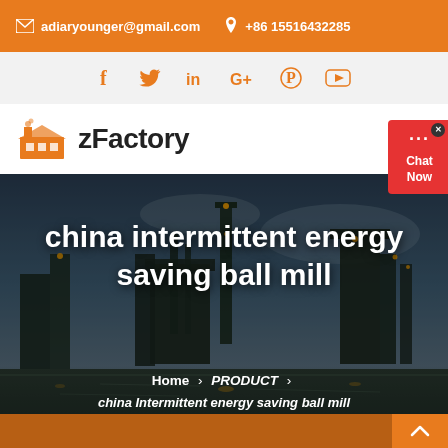adiaryounger@gmail.com  +86 15516432285
[Figure (other): Social media icons bar: Facebook, Twitter, LinkedIn, Google+, Pinterest, YouTube]
[Figure (logo): zFactory logo with orange factory building icon and bold text 'zFactory']
china intermittent energy saving ball mill
Home > PRODUCT > china Intermittent energy saving ball mill